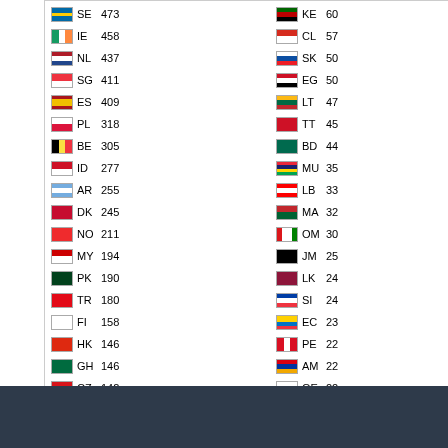[Figure (infographic): Flag counter widget showing country flags, 2-letter country codes, and pageview counts for various countries. Left column: SE 473, IE 458, NL 437, SG 411, ES 409, PL 318, BE 305, ID 277, AR 255, DK 245, NO 211, MY 194, PK 190, TR 180, FI 158, HK 146, GH 146, CZ 142, IL 135, AE 133, CH 128, TH 119, VN 117. Right column: KE 60, CL 57, SK 50, EG 50, LT 47, TT 45, BD 44, MU 35, LB 33, MA 32, OM 30, JM 25, LK 24, SI 24, EC 23, PE 22, AM 22, GE 22, GT 20, KZ 18, CY 18, TN 17, CR 17. Pageviews: 231,959. Flags Collected: 168.]
Pageviews: 231,959
Flags Collected: 168